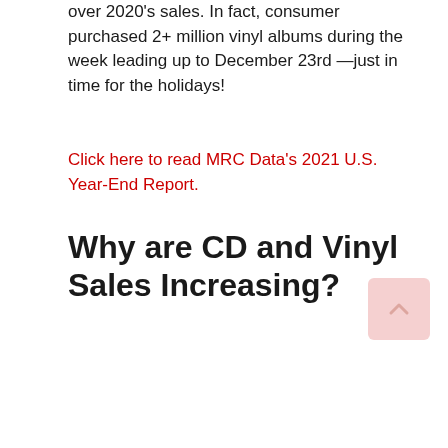over 2020's sales. In fact, consumer purchased 2+ million vinyl albums during the week leading up to December 23rd —just in time for the holidays!
Click here to read MRC Data's 2021 U.S. Year-End Report.
Why are CD and Vinyl Sales Increasing?